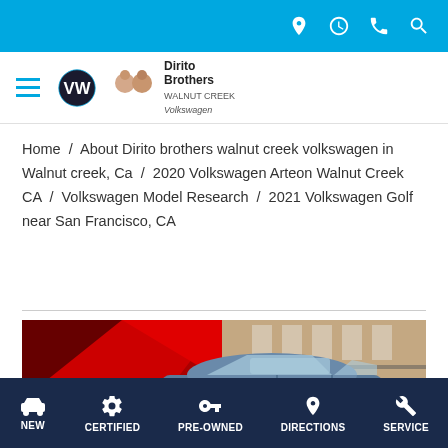Top navigation bar with icons: location, clock, phone, search
[Figure (logo): Dirito Brothers Walnut Creek Volkswagen logo with hamburger menu, VW emblem, dealer faces and text]
Home / About Dirito brothers walnut creek volkswagen in Walnut creek, Ca / 2020 Volkswagen Arteon Walnut Creek CA / Volkswagen Model Research / 2021 Volkswagen Golf near San Francisco, CA
[Figure (photo): 2021 Volkswagen Golf hatchback in blue/grey parked in front of a building with red geometric art installation]
NEW   CERTIFIED   PRE-OWNED   DIRECTIONS   SERVICE